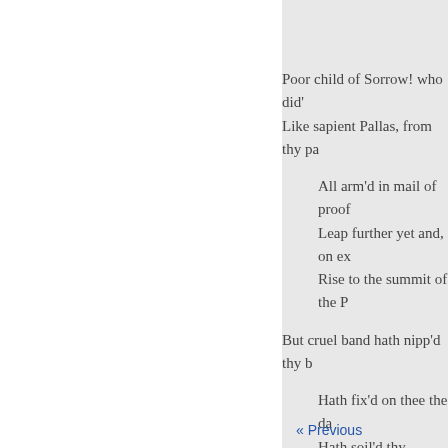Poor child of Sorrow! who did'
Like sapient Pallas, from thy pa
    All arm'd in mail of proof
    Leap further yet and, on ex
    Rise to the summit of the P
But cruel band hath nipp'd thy b
    Hath fix'd on thee the da
    Hath soil'd thy splendour,
    Where are thy " full-orb'd
    And where thy " waving
    All, all are blotted by the n
    And lie unhonour'd in the
    Weep, gentle Sonnets ! So
    And vow-and keep the vov
« Previous